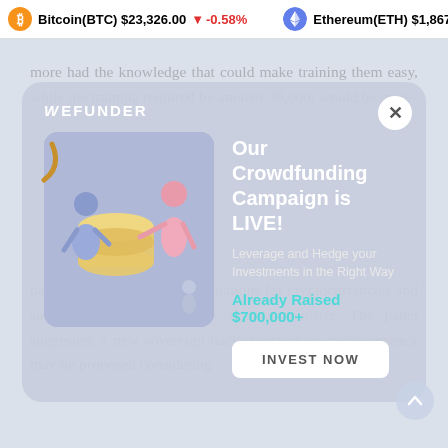Bitcoin(BTC) $23,326.00 ↓ -0.58%   Ethereum(ETH) $1,867.4
more had the knowledge that could make training them easy, while the training required by another 30,000, would be more
[Figure (infographic): WeFunder crowdfunding modal popup with illustration of figures handling coins. Title: Our Crowdfunding Campaign is LIVE! Subtitle: Leverage and Hedge your Investments in the Right Way. Already Raised $700,000+. INVEST NOW button.]
panel to draw up a set of regulations for cryptocurrencies and submitted its report to the finance minister. The panel suggested, a new sovereign backed virtual or cryptocurrency may be proposed considering